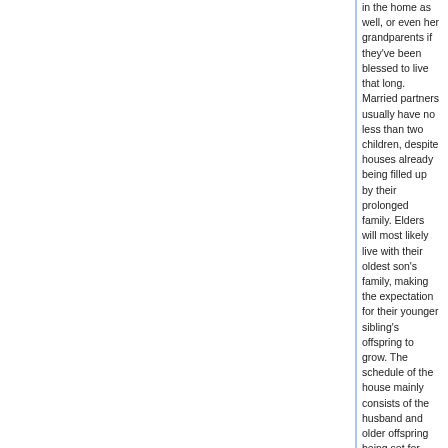in the home as well, or even her grandparents if they've been blessed to live that long. Married partners usually have no less than two children, despite houses already being filled up by their prolonged family. Elders will most likely live with their oldest son's family, making the expectation for their younger sibling's offspring to grow. The schedule of the house mainly consists of the husband and older offspring being set for work whilst the wife and grandmother remain at home to complete house chores and tutor children. Elder men are almost always completely absent from any sort of work that provides for their household, as it's believed that when in their grace period they have already reserved the right to spend the rest of their days as they wish.